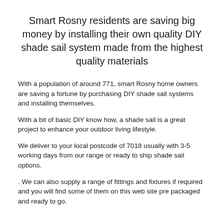Smart Rosny residents are saving big money by installing their own quality DIY shade sail system made from the highest quality materials
With a population of around 771, smart Rosny home owners are saving a fortune by purchasing DIY shade sail systems and installing themselves.
With a bit of basic DIY know how, a shade sail is a great project to enhance your outdoor living lifestyle.
We deliver to your local postcode of 7018 usually with 3-5 working days from our range or ready to ship shade sail options.
. We can also supply a range of fittings and fixtures if required and you will find some of them on this web site pre packaged and ready to go.